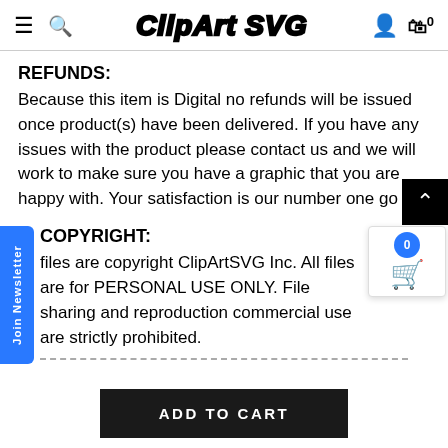ClipArt SVG
REFUNDS:
Because this item is Digital no refunds will be issued once product(s) have been delivered. If you have any issues with the product please contact us and we will work to make sure you have a graphic that you are happy with. Your satisfaction is our number one go
COPYRIGHT:
files are copyright ClipArtSVG Inc. All files are for PERSONAL USE ONLY. File sharing and reproduction commercial use are strictly prohibited.